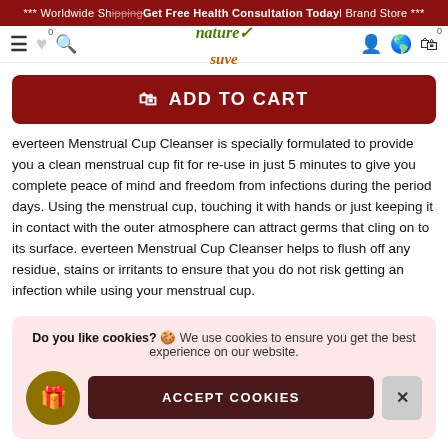*** Worldwide Shipping | Get Free Health Consultation Today | Official Brand Store ***
[Figure (screenshot): Website navigation bar with hamburger menu, heart/search icons, Nature Sure logo, user/globe/cart icons]
ADD TO CART
everteen Menstrual Cup Cleanser is specially formulated to provide you a clean menstrual cup fit for re-use in just 5 minutes to give you complete peace of mind and freedom from infections during the period days. Using the menstrual cup, touching it with hands or just keeping it in contact with the outer atmosphere can attract germs that cling on to its surface. everteen Menstrual Cup Cleanser helps to flush off any residue, stains or irritants to ensure that you do not risk getting an infection while using your menstrual cup.
Do you like cookies? 🍪 We use cookies to ensure you get the best experience on our website. ACCEPT COOKIES ✕
Menstrual Cup Cleanser to sanitize and sterilize the menstrual cup. Its